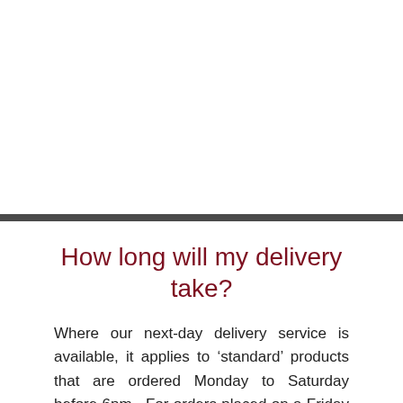How long will my delivery take?
Where our next-day delivery service is available, it applies to 'standard' products that are ordered Monday to Saturday before 6pm.  For orders placed on a Friday before